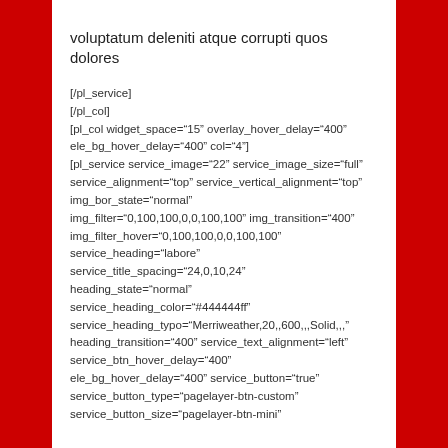voluptatum deleniti atque corrupti quos dolores
[/pl_service]
[/pl_col]
[pl_col widget_space="15" overlay_hover_delay="400" ele_bg_hover_delay="400" col="4"]
[pl_service service_image="22" service_image_size="full" service_alignment="top" service_vertical_alignment="top" img_bor_state="normal" img_filter="0,100,100,0,0,100,100" img_transition="400" img_filter_hover="0,100,100,0,0,100,100" service_heading="labore" service_title_spacing="24,0,10,24" heading_state="normal" service_heading_color="#444444ff" service_heading_typo="Merriweather,20,,600,,,Solid,,," heading_transition="400" service_text_alignment="left" service_btn_hover_delay="400" ele_bg_hover_delay="400" service_button="true" service_button_type="pagelayer-btn-custom" service_button_size="pagelayer-btn-mini"